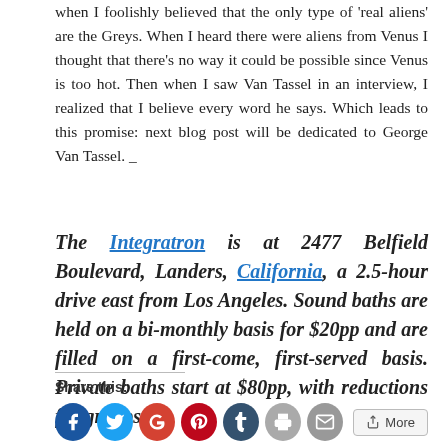when I foolishly believed that the only type of 'real aliens' are the Greys. When I heard there were aliens from Venus I thought that there's no way it could be possible since Venus is too hot. Then when I saw Van Tassel in an interview, I realized that I believe every word he says. Which leads to this promise: next blog post will be dedicated to George Van Tassel. _
The Integratron is at 2477 Belfield Boulevard, Landers, California, a 2.5-hour drive east from Los Angeles. Sound baths are held on a bi-monthly basis for $20pp and are filled on a first-come, first-served basis. Private baths start at $80pp, with reductions for groups.
Share this: